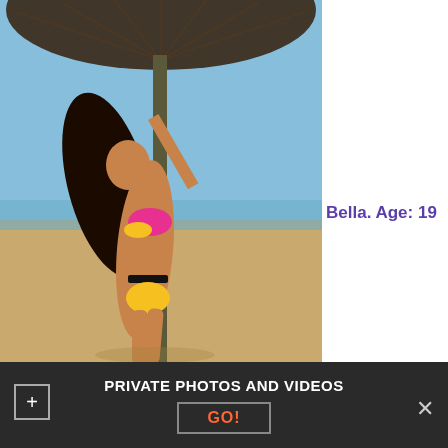[Figure (photo): Young woman in bikini at beach, holding a pole under a large wicker umbrella, shot from the side against a clear sky and sandy shore]
Bella. Age: 19
PRIVATE PHOTOS AND VIDEOS
GO!